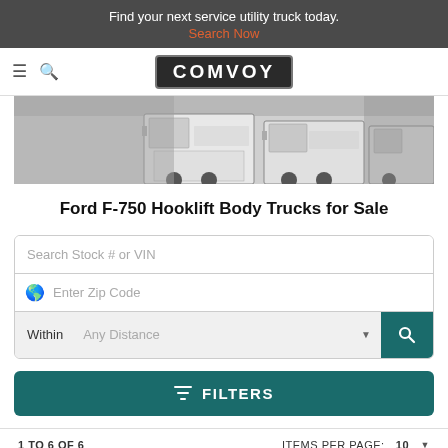Find your next service utility truck today. Search Now
[Figure (screenshot): Comvoy logo and navigation bar with hamburger menu and search icon]
[Figure (photo): Black and white photo of multiple white service utility trucks lined up]
Ford F-750 Hooklift Body Trucks for Sale
Search Stock # or VIN
Enter Zip Code
Within Any Distance
FILTERS
1 TO 6 OF 6
ITEMS PER PAGE: 10